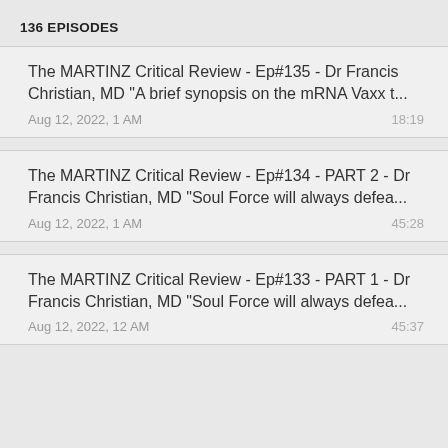136 EPISODES
The MARTINZ Critical Review - Ep#135 - Dr Francis Christian, MD "A brief synopsis on the mRNA Vaxx t...
Aug 12, 2022, 1 AM	18:19
The MARTINZ Critical Review - Ep#134 - PART 2 - Dr Francis Christian, MD "Soul Force will always defea...
Aug 12, 2022, 1 AM	45:28
The MARTINZ Critical Review - Ep#133 - PART 1 - Dr Francis Christian, MD "Soul Force will always defea...
Aug 12, 2022, 12 AM	45:37